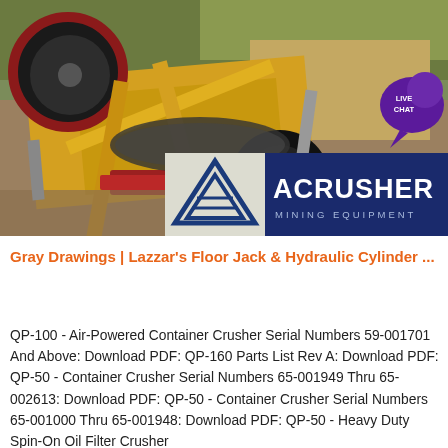[Figure (photo): Aerial/overhead view of heavy mining/crushing machinery in yellow and black with a red wheel component, surrounded by dirt and greenery. A 'LIVE CHAT' purple speech bubble icon overlays the top right.]
[Figure (logo): ACRUSHER Mining Equipment logo — blue triangle logo mark on light background next to dark navy blue rectangle with white text 'ACRUSHER' large and 'MINING EQUIPMENT' in smaller spaced letters below.]
Gray Drawings | Lazzar's Floor Jack & Hydraulic Cylinder ...
QP-100 - Air-Powered Container Crusher Serial Numbers 59-001701 And Above: Download PDF: QP-160 Parts List Rev A: Download PDF: QP-50 - Container Crusher Serial Numbers 65-001949 Thru 65-002613: Download PDF: QP-50 - Container Crusher Serial Numbers 65-001000 Thru 65-001948: Download PDF: QP-50 - Heavy Duty Spin-On Oil Filter Crusher